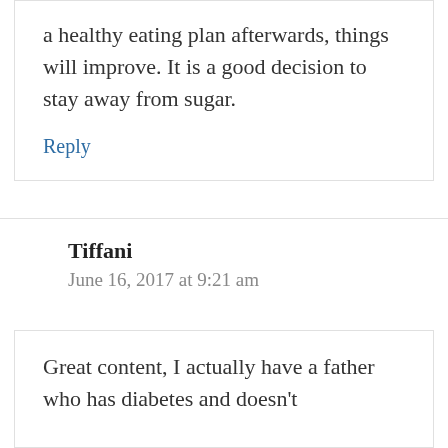a healthy eating plan afterwards, things will improve. It is a good decision to stay away from sugar.
Reply
Tiffani
June 16, 2017 at 9:21 am
Great content, I actually have a father who has diabetes and doesn't